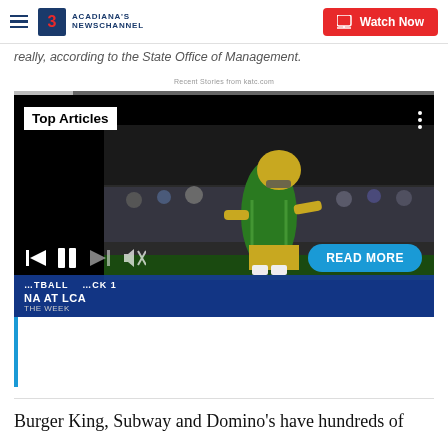Acadiana's Newschannel | Watch Now
really, according to the State Office of Management.
Recent Stories from katc.com
[Figure (screenshot): Video player showing a football player in green and gold uniform running during a night game. The player wears a gold helmet. The video has playback controls at the bottom including skip-back and pause buttons, and a 'READ MORE' button. A 'Top Articles' label is at the top left. The lower overlay bar shows 'NA AT LCA' and 'THE WEEK' text in blue. A progress/seek bar is at the top of the player.]
Burger King, Subway and Domino's have hundreds of